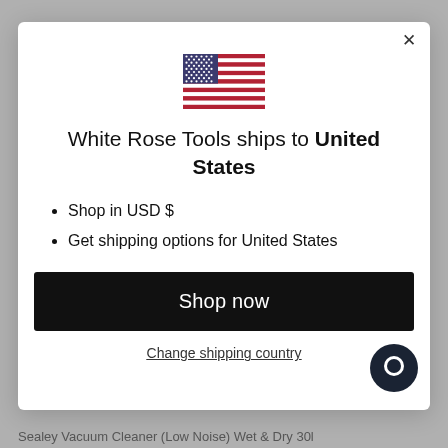[Figure (screenshot): US flag icon displayed at the top center of the modal dialog]
White Rose Tools ships to United States
Shop in USD $
Get shipping options for United States
Shop now
Change shipping country
Sealey Vacuum Cleaner (Low Noise) Wet & Dry 30l